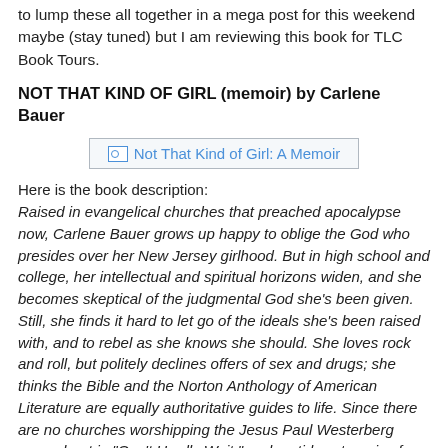to lump these all together in a mega post for this weekend maybe (stay tuned) but I am reviewing this book for TLC Book Tours.
NOT THAT KIND OF GIRL (memoir) by Carlene Bauer
[Figure (other): Book cover image placeholder for 'Not That Kind of Girl: A Memoir']
Here is the book description:
Raised in evangelical churches that preached apocalypse now, Carlene Bauer grows up happy to oblige the God who presides over her New Jersey girlhood. But in high school and college, her intellectual and spiritual horizons widen, and she becomes skeptical of the judgmental God she's been given. Still, she finds it hard to let go of the ideals she's been raised with, and to rebel as she knows she should. She loves rock and roll, but politely declines offers of sex and drugs; she thinks the Bible and the Norton Anthology of American Literature are equally authoritative guides to life. Since there are no churches worshipping the Jesus Paul Westerberg sang about in "Can't Hardly Wait," and no tidy categories for those who are neither riot grrrls nor altar girls, she hovers between a hunger for the world and a suspicion of it. In her